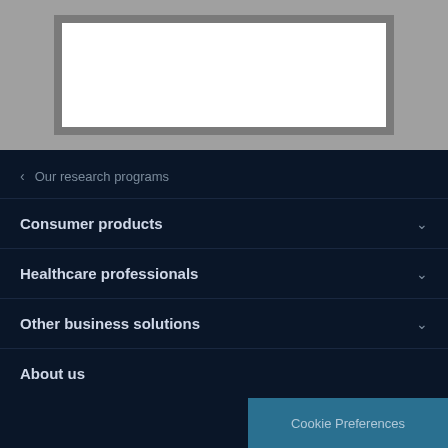[Figure (screenshot): Gray background with a framed white rectangle representing a placeholder image or media area]
< Our research programs
Consumer products
Healthcare professionals
Other business solutions
About us
Cookie Preferences